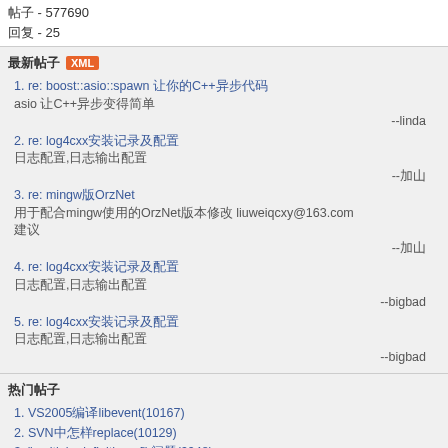帖子 - 577690
回复 - 25
最新帖子 XML
1. re: boost::asio::spawn 让你的C++异步代码asio 让C++异步变得简单 --linda
2. re: log4cxx安装记录及配置
日志配置,日志输出配置 --加山
3. re: mingw版OrzNet
用于配合mingw使用的OrzNet版本修改 liuweiqcxy@163.com
建议 --加山
4. re: log4cxx安装记录及配置
日志配置,日志输出配置 --bigbad
5. re: log4cxx安装记录及配置
日志配置,日志输出配置 --bigbad
热门帖子
1. VS2005编译libevent(10167)
2. SVN中怎样replace(10129)
3. "multiple definition of" 问题(9948)
4. 哦我终于搞定了链接(9586)
5. C调lua程序的调用方法(8794)
热门回复
1. VC6编译失败(35)
2. VS2005编译libevent(21)
3. "multiple definition of" 问题(18)
4. C++的简单问题(17)
5. ACE中ASIO网络层的Socket关闭方式(16)